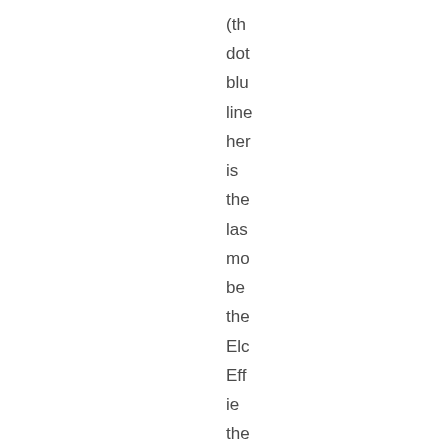(th
dot
blu
line
her
is
the
las
mo
be
the
Elc
Eff
ie
the
em
of